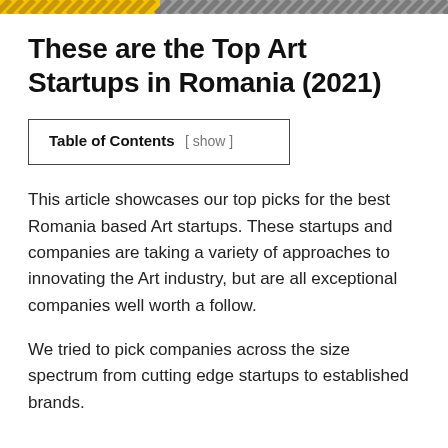These are the Top Art Startups in Romania (2021)
| Table of Contents [ show ] |
| --- |
This article showcases our top picks for the best Romania based Art startups. These startups and companies are taking a variety of approaches to innovating the Art industry, but are all exceptional companies well worth a follow.
We tried to pick companies across the size spectrum from cutting edge startups to established brands.